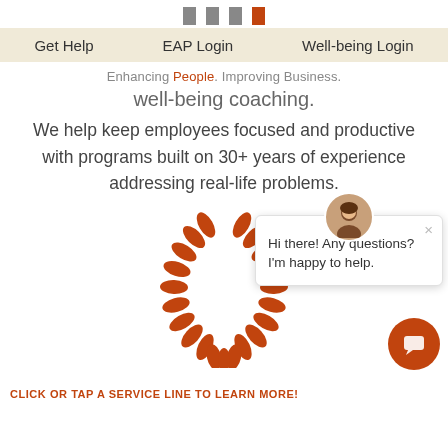[Figure (screenshot): Navigation icon row with three gray squares and one orange square]
Get Help   EAP Login   Well-being Login
Enhancing People. Improving Business.
well-being coaching.
We help keep employees focused and productive with programs built on 30+ years of experience addressing real-life problems.
[Figure (illustration): Orange laurel wreath illustration, partially visible, with a chat popup overlay showing avatar and message: Hi there! Any questions? I'm happy to help. Also an orange chat bubble button bottom right.]
CLICK OR TAP A SERVICE LINE TO LEARN MORE!